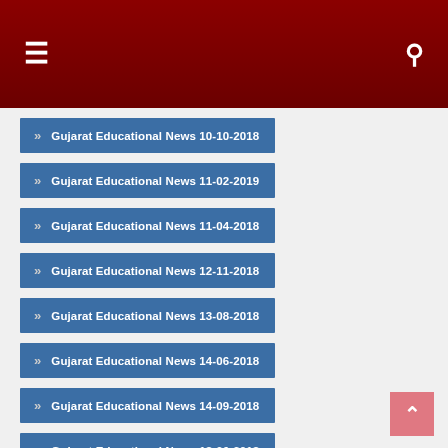≡   🔍
» Gujarat Educational News 10-10-2018
» Gujarat Educational News 11-02-2019
» Gujarat Educational News 11-04-2018
» Gujarat Educational News 12-11-2018
» Gujarat Educational News 13-08-2018
» Gujarat Educational News 14-06-2018
» Gujarat Educational News 14-09-2018
» Gujarat Educational News 18-06-2018
» Gujarat Educational News 18-07-2018
» Gujarat Educational News 18-08-2018
» Gujarat Educational News 18-11-2018
» Gujarat Educational News 19-07-2018